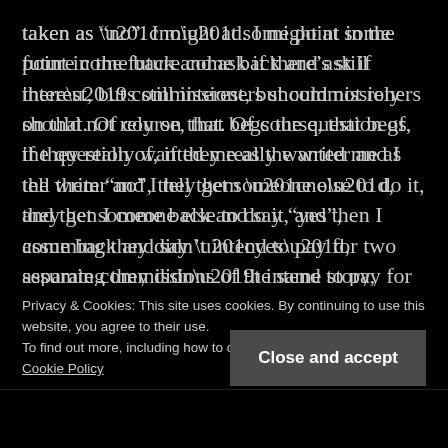taken as “no”. I might at some point in the future come back and ask if there’s still interest, but commissioners should not rely on that. Of course, that begs the question of, if they really wanted me as the writer and I tell them “no”, they get someone else to do it, and then I come back and say “yes”, assuming they didn’t intend to pay for two separate commissions of the same story, they’ve now had to settle for something less than their first choice due solely to timing. I don’t really have a good answer for that. I can indicate that I can’t do the commission now but would be interested in doing it in the future, but that puts me right back in the queue
Privacy & Cookies: This site uses cookies. By continuing to use this website, you agree to their use.
To find out more, including how to control cookies, see here: Cookie Policy
Close and accept